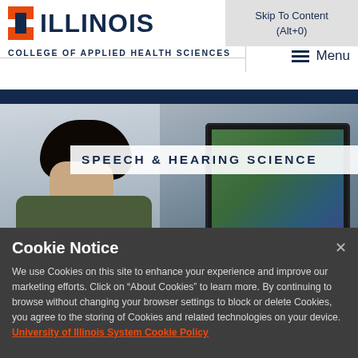Skip To Content (Alt+0)
[Figure (logo): University of Illinois block I logo in orange and navy]
ILLINOIS
COLLEGE OF APPLIED HEALTH SCIENCES
Menu
[Figure (photo): Student studying at a desk with a laptop computer; banner overlay reads SPEECH & HEARING SCIENCE]
SPEECH & HEARING SCIENCE
Cookie Notice
We use Cookies on this site to enhance your experience and improve our marketing efforts. Click on “About Cookies” to learn more. By continuing to browse without changing your browser settings to block or delete Cookies, you agree to the storing of Cookies and related technologies on your device. University of Illinois System Cookie Policy